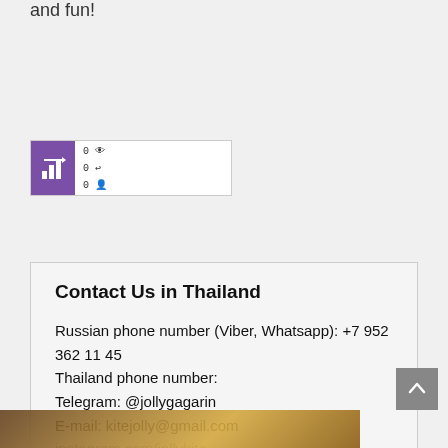and fun!
[Figure (other): Small widget/badge with purple bar chart icon on left and stats showing 0 views, 0 reposts, 0 users on right]
Contact Us in Thailand
Russian phone number (Viber, Whatsapp): +7 952 362 11 45
Thailand phone number:
Telegram: @jollygagarin
E-mail: kitejolly@gmail.com
instagram.com/jollykite